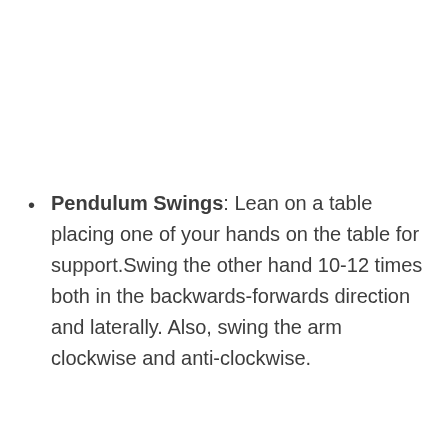Pendulum Swings: Lean on a table placing one of your hands on the table for support.Swing the other hand 10-12 times both in the backwards-forwards direction and laterally. Also, swing the arm clockwise and anti-clockwise.